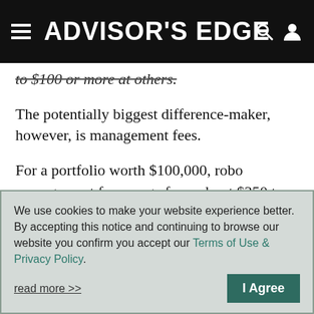ADVISOR'S EDGE
to $100 or more at others.
The potentially biggest difference-maker, however, is management fees.
For a portfolio worth $100,000, robo management fees range from about $350 to $480 at some platforms, while advisor referral fees range from a few hundred dollars to $1,150. Advisors might charge additional fees for services like tax and estate planning.
We use cookies to make your website experience better. By accepting this notice and continuing to browse our website you confirm you accept our Terms of Use & Privacy Policy.

read more >>   I Agree